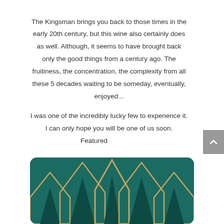The Kingsman brings you back to those times in the early 20th century, but this wine also certainly does as well. Although, it seems to have brought back only the good things from a century ago. The fruitiness, the concentration, the complexity from all these 5 decades waiting to be someday, eventually, enjoyed...

I was one of the incredibly lucky few to experience it. I can only hope you will be one of us soon.
Featured
[Figure (illustration): Dark teal/green rounded rectangle card with a gold crown or zigzag/mountain pattern design — appears to be a wine label or brand logo with golden geometric crown shapes on a deep teal background.]